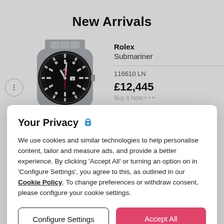New Arrivals
Rolex
Submariner
116610 LN
£12,445
[Figure (photo): Rolex Submariner watch with black dial and bezel, stainless steel bracelet]
Your Privacy 🔒
We use cookies and similar technologies to help personalise content, tailor and measure ads, and provide a better experience. By clicking 'Accept All' or turning an option on in 'Configure Settings', you agree to this, as outlined in our Cookie Policy. To change preferences or withdraw consent, please configure your cookie settings.
Configure Settings
Accept All